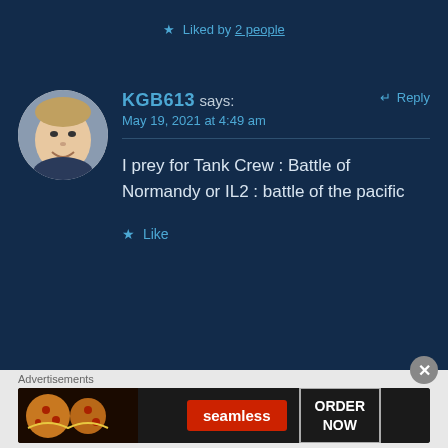★ Liked by 2 people
KGB613 says:
May 19, 2021 at 4:49 am
↵ Reply
[Figure (photo): Round avatar of a smiling heavyset man]
I prey for Tank Crew : Battle of Normandy or IL2 : battle of the pacific
★ Like
Advertisements
[Figure (photo): Seamless food delivery advertisement banner with pizza image, Seamless logo, and ORDER NOW button]